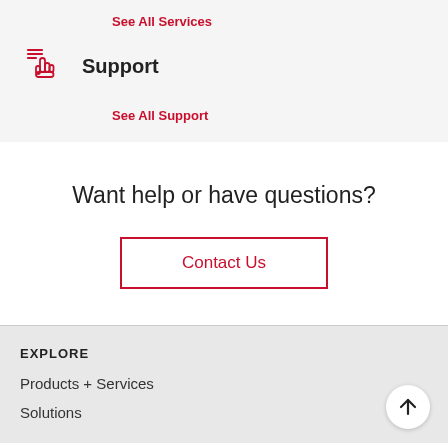See All Services
Support
See All Support
Want help or have questions?
Contact Us
EXPLORE
Products + Services
Solutions